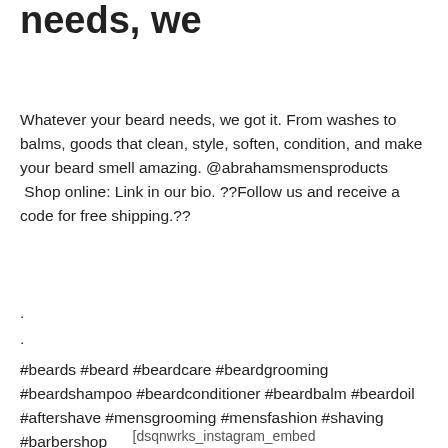needs, we
Whatever your beard needs, we got it. From washes to balms, goods that clean, style, soften, condition, and make your beard smell amazing. @abrahamsmensproducts  Shop online: Link in our bio. ??Follow us and receive a code for free shipping??
.
.
.
.
.
#beards #beard #beardcare #beardgrooming #beardshampoo #beardconditioner #beardbalm #beardoil #aftershave #mensgrooming #mensfashion #shaving #barbershop
[dsqnwrks_instagram_embed